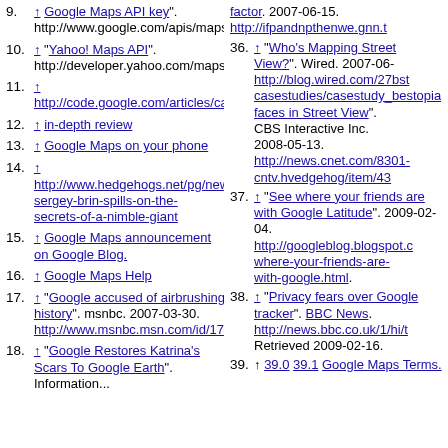9. ↑ Google Maps API key. http://www.google.com/apis/maps/signup.html
10. ↑ Yahoo! Maps API. http://developer.yahoo.com/maps/index.html
11. ↑ http://code.google.com/articles/casestudies/casestudy_bestopia.html
12. ↑ in-depth review
13. ↑ Google Maps on your phone
14. ↑ http://www.hedgehogs.net/pg/newsfeeds/hhedgehog/item/43/sergey-brin-spills-on-the-secrets-of-a-nimble-giant
15. ↑ Google Maps announcement on Google Blog.
16. ↑ Google Maps Help
17. ↑ Google accused of airbrushing Katrina history. msnbc. 2007-03-30. http://www.msnbc.msn.com/id/17880969/
18. ↑ Google Restores Katrina's Scars To Google Earth. Information...
35. factor. 2007-06-15. http://ifpandnpthenwe.gnn.t
36. ↑ Who's Mapping Street View?. Wired. 2007-06- http://blog.wired.com/27bst...casestudies/casestudy_bestopia faces in Street View. CBS Interactive Inc. 2008-05-13. http://news.cnet.com/8301-...
37. ↑ See where your friends are with Google Latitude. 2009-02-04. http://googleblog.blogspot.c/where-your-friends-are-with-google.html.
38. ↑ Privacy fears over Google tracker. BBC News. http://news.bbc.co.uk/1/hi/t Retrieved 2009-02-16.
39. ↑ 39.0 39.1 Google Maps Terms.